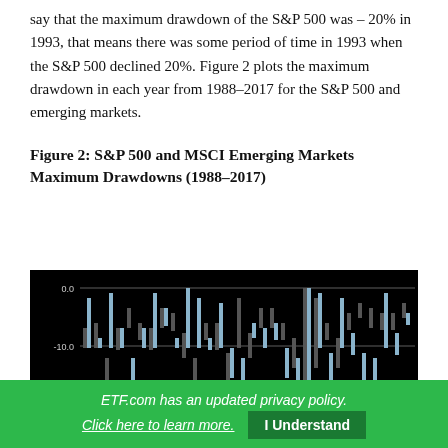say that the maximum drawdown of the S&P 500 was – 20% in 1993, that means there was some period of time in 1993 when the S&P 500 declined 20%. Figure 2 plots the maximum drawdown in each year from 1988–2017 for the S&P 500 and emerging markets.
Figure 2: S&P 500 and MSCI Emerging Markets Maximum Drawdowns (1988–2017)
[Figure (bar-chart): Bar chart showing maximum drawdowns for S&P 500 (dark) and MSCI Emerging Markets (light blue) from 1988 to 2017 on a black background. Y-axis shows 0.0, -10.0, -20.0. Bars extend downward representing negative drawdown values.]
ETF.com has an updated privacy policy. Click here to learn more. I Understand